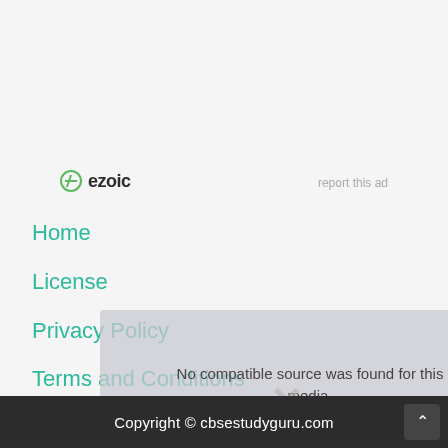[Figure (logo): Ezoic logo with circular icon and bold text 'ezoic']
report this ad
Home
License
Privacy Policy
Terms and Conditions
[Figure (screenshot): Overlay popup showing 'No compatible source was found for this media.' message with close button]
Copyright © cbsestudyguru.com